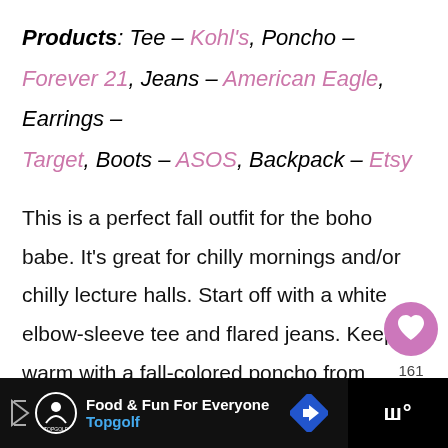Products: Tee – Kohl's, Poncho – Forever 21, Jeans – American Eagle, Earrings – Target, Boots – ASOS, Backpack – Etsy
This is a perfect fall outfit for the boho babe. It's great for chilly mornings and/or chilly lecture halls. Start off with a white elbow-sleeve tee and flared jeans. Keep warm with a fall-colored poncho from Forever 21.
[Figure (other): Heart/like button with count 161 and share button]
[Figure (other): Advertisement bar: Topgolf - Food & Fun For Everyone]